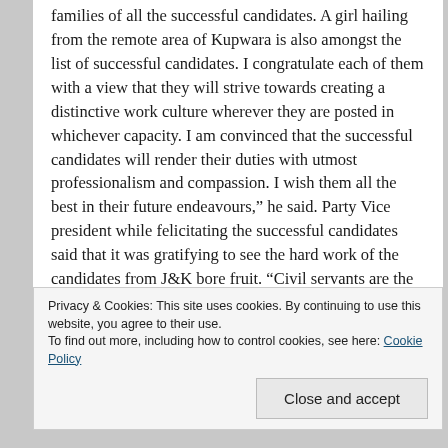families of all the successful candidates. A girl hailing from the remote area of Kupwara is also amongst the list of successful candidates. I congratulate each of them with a view that they will strive towards creating a distinctive work culture wherever they are posted in whichever capacity. I am convinced that the successful candidates will render their duties with utmost professionalism and compassion. I wish them all the best in their future endeavours," he said. Party Vice president while felicitating the successful candidates said that it was gratifying to see the hard work of the candidates from J&K bore fruit. "Civil servants are the extended arms of government. They are responsible for managing resources, delivering services. People expect them to function fairly, impartially, and efficiently. I hope that the
Privacy & Cookies: This site uses cookies. By continuing to use this website, you agree to their use.
To find out more, including how to control cookies, see here: Cookie Policy
Close and accept